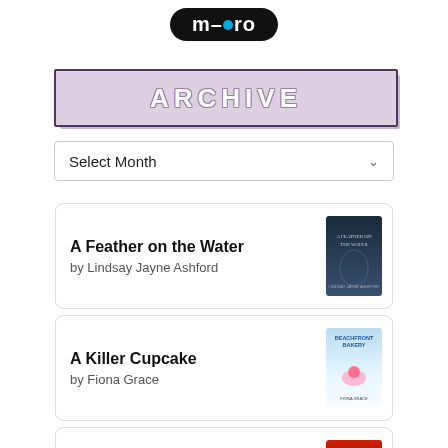[Figure (logo): m-cro logo, black oval with white text, blue dot between m and ro]
ARCHIVE
Select Month
A Feather on the Water
by Lindsay Jayne Ashford
A Killer Cupcake
by Fiona Grace
All Her Fault
by Andrea Mara
It Ends with Us